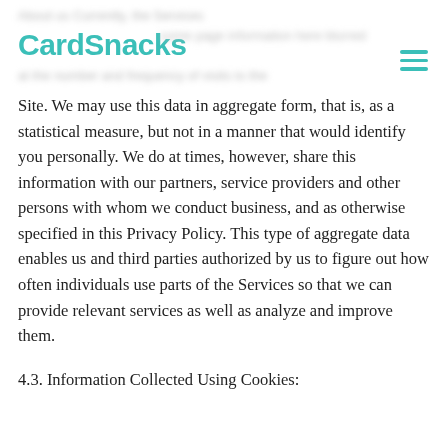CardSnacks
Site. We may use this data in aggregate form, that is, as a statistical measure, but not in a manner that would identify you personally. We do at times, however, share this information with our partners, service providers and other persons with whom we conduct business, and as otherwise specified in this Privacy Policy. This type of aggregate data enables us and third parties authorized by us to figure out how often individuals use parts of the Services so that we can provide relevant services as well as analyze and improve them.
4.3. Information Collected Using Cookies: